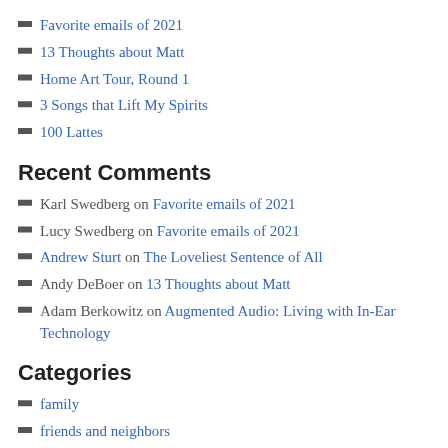Favorite emails of 2021
13 Thoughts about Matt
Home Art Tour, Round 1
3 Songs that Lift My Spirits
100 Lattes
Recent Comments
Karl Swedberg on Favorite emails of 2021
Lucy Swedberg on Favorite emails of 2021
Andrew Sturt on The Loveliest Sentence of All
Andy DeBoer on 13 Thoughts about Matt
Adam Berkowitz on Augmented Audio: Living with In-Ear Technology
Categories
family
friends and neighbors
language
miscellany